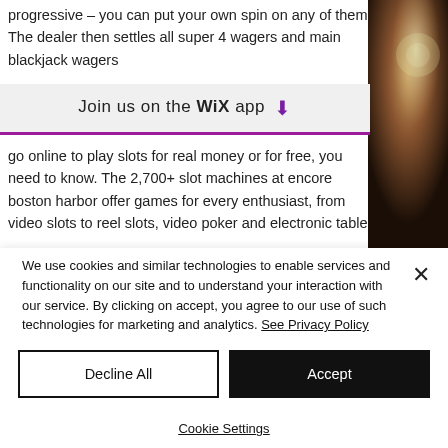progressive – you can put your own spin on any of them. The dealer then settles all super 4 wagers and main blackjack wagers
Join us on the WiX app ↓
go online to play slots for real money or for free, you need to know. The 2,700+ slot machines at encore boston harbor offer games for every enthusiast, from video slots to reel slots, video poker and electronic table
[Figure (photo): Partial view of a casino or decorative background image in amber/brown tones on the right side of the page]
We use cookies and similar technologies to enable services and functionality on our site and to understand your interaction with our service. By clicking on accept, you agree to our use of such technologies for marketing and analytics. See Privacy Policy
Decline All
Accept
Cookie Settings